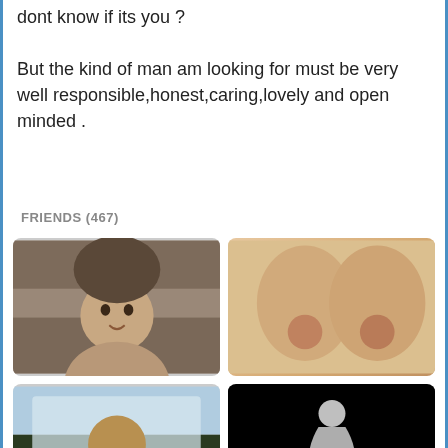dont know if its you ?
But the kind of man am looking for must be very well responsible,honest,caring,lovely and open minded .
FRIENDS (467)
[Figure (photo): Young man with dark hair, selfie-style portrait]
[Figure (photo): Close-up photo (explicit/adult content implied by context)]
[Figure (photo): Man with sunglasses in car, selfie]
[Figure (photo): Silhouette figure on black background]
[Figure (photo): Partial face, cropped at bottom]
[Figure (photo): Two figures with orange/gold tones]